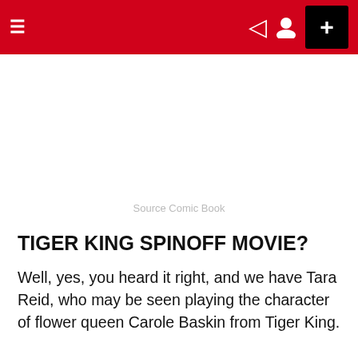Navigation bar with menu, dark mode, profile, and add button
[Figure (other): White blank image area with 'Source Comic Book' watermark text]
Source Comic Book
TIGER KING SPINOFF MOVIE?
Well, yes, you heard it right, and we have Tara Reid, who may be seen playing the character of flower queen Carole Baskin from Tiger King.